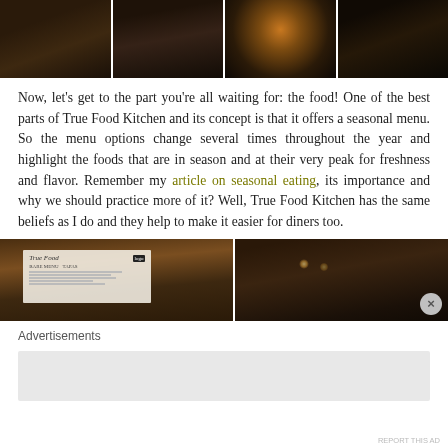[Figure (photo): Four restaurant interior photos side by side showing dim, warmly lit dining area scenes]
Now, let’s get to the part you’re all waiting for: the food! One of the best parts of True Food Kitchen and its concept is that it offers a seasonal menu. So the menu options change several times throughout the year and highlight the foods that are in season and at their very peak for freshness and flavor. Remember my article on seasonal eating, its importance and why we should practice more of it? Well, True Food Kitchen has the same beliefs as I do and they help to make it easier for diners too.
[Figure (photo): Two restaurant photos: left shows a True Food Kitchen menu on a wooden table, right shows glasses on a restaurant table]
Advertisements